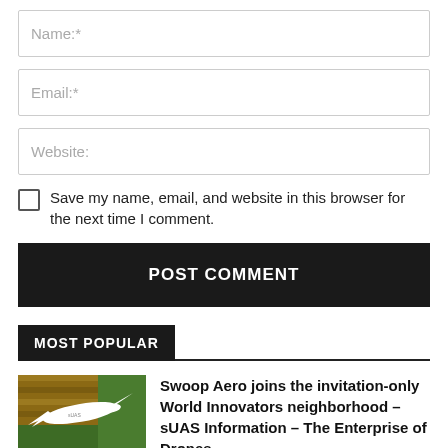Name:*
Email:*
Website:
Save my name, email, and website in this browser for the next time I comment.
POST COMMENT
MOST POPULAR
[Figure (photo): White fixed-wing drone/UAV on a wooden surface with green grass background]
Swoop Aero joins the invitation-only World Innovators neighborhood – sUAS Information – The Enterprise of Drones